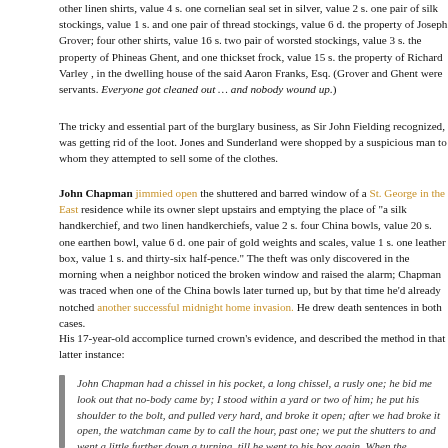other linen shirts, value 4 s. one cornelian seal set in silver, value 2 s. one pair of silk stockings, value 1 s. and one pair of thread stockings, value 6 d. the property of Joseph Grover; four other shirts, value 16 s. two pair of worsted stockings, value 3 s. the property of Phineas Ghent, and one thickset frock, value 15 s. the property of Richard Varley , in the dwelling house of the said Aaron Franks, Esq. (Grover and Ghent were servants. Everyone got cleaned out … and nobody wound up.)
The tricky and essential part of the burglary business, as Sir John Fielding recognized, was getting rid of the loot. Jones and Sunderland were shopped by a suspicious man to whom they attempted to sell some of the clothes.
John Chapman jimmied open the shuttered and barred window of a St. George in the East residence while its owner slept upstairs and emptying the place of "a silk handkerchief, and two linen handkerchiefs, value 2 s. four China bowls, value 20 s. one earthen bowl, value 6 d. one pair of gold weights and scales, value 1 s. one leather box, value 1 s. and thirty-six half-pence." The theft was only discovered in the morning when a neighbor noticed the broken window and raised the alarm; Chapman was traced when one of the China bowls later turned up, but by that time he'd already notched another successful midnight home invasion. He drew death sentences in both cases.
His 17-year-old accomplice turned crown's evidence, and described the method in that latter instance:
John Chapman had a chissel in his pocket, a long chissel, a rusly one; he bid me look out that no-body came by; I stood within a yard or two of him; he put his shoulder to the bolt, and pulled very hard, and broke it open; after we had broke it open, the watchman came by to call the hour, past one; we put the shutters to and went a little further down a turning, till he went to his box again. When the watchman went to his box we got in;